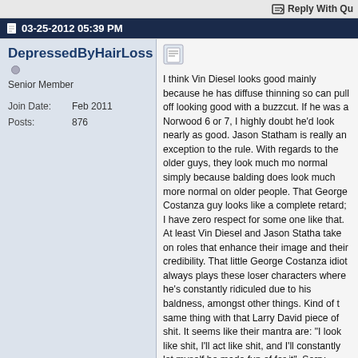Reply With Quote
03-25-2012 05:39 PM
DeprecatedByHairLoss
Senior Member
| Field | Value |
| --- | --- |
| Join Date: | Feb 2011 |
| Posts: | 876 |
I think Vin Diesel looks good mainly because he has diffuse thinning so can pull off looking good with a buzzcut. If he was a Norwood 6 or 7, I highly doubt he'd look nearly as good. Jason Statham is really an exception to the rule. With regards to the older guys, they look much more normal simply because balding does look much more normal on older people. That George Costanza guy looks like a complete retard; I have zero respect for some one like that. At least Vin Diesel and Jason Statham take on roles that enhance their image and their credibility. That little George Costanza idiot always plays these loser characters where he's constantly ridiculed due to his baldness, amongst other things. Kind of the same thing with that Larry David piece of shit. It seems like their mantra are: "I look like shit, I'll act like shit, and I'll constantly let myself be made fun of for it". Sorry about this rant, but their kind of self-deprecating (I call it "self-defecating") attitude when it comes to something as traumatic as hair loss really irritates me. It really marginalizes this traumatic disorder hair loss, which has devastated life for many of us. Anyway, on a positive note...